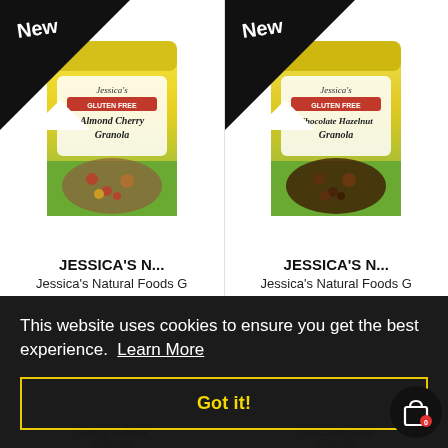[Figure (photo): Product card for Jessica's Natural Foods Gluten Free Almond Cherry Granola bag with 'New' ribbon banner in top-left corner]
JESSICA'S N...
Jessica's Natural Foods G
[Figure (photo): Product card for Jessica's Natural Foods Gluten Free Chocolate Hazelnut Granola bag with 'New' ribbon banner in top-left corner]
JESSICA'S N...
Jessica's Natural Foods G
This website uses cookies to ensure you get the best experience. Learn More
Got it!
[Figure (illustration): Shopping cart icon in white on black circle background with red badge showing 0]
Cherry & Berry Granola
Chocolate Chip Granola